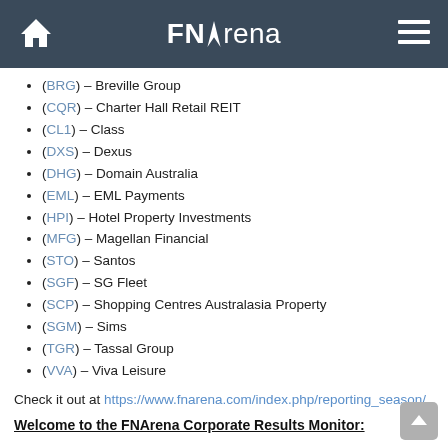FNArena
((BRG)) – Breville Group
((CQR)) – Charter Hall Retail REIT
((CL1)) – Class
((DXS)) – Dexus
((DHG)) – Domain Australia
((EML)) – EML Payments
((HPI)) – Hotel Property Investments
((MFG)) – Magellan Financial
((STO)) – Santos
((SGF)) – SG Fleet
((SCP)) – Shopping Centres Australasia Property
((SGM)) – Sims
((TGR)) – Tassal Group
((VVA)) – Viva Leisure
Check it out at https://www.fnarena.com/index.php/reporting_season/
Welcome to the FNArena Corporate Results Monitor: